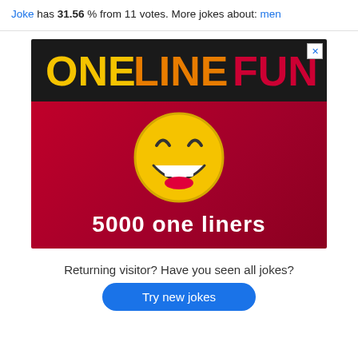Joke has 31.56 % from 11 votes. More jokes about: men
[Figure (illustration): Advertisement banner for OneLineFun website. Dark header with ONELINEFUN text in yellow/orange/red gradient letters, red background with laughing emoji face, and '5000 one liners' text in white bold. Close button (X) in top right corner.]
Returning visitor? Have you seen all jokes?
Try new jokes